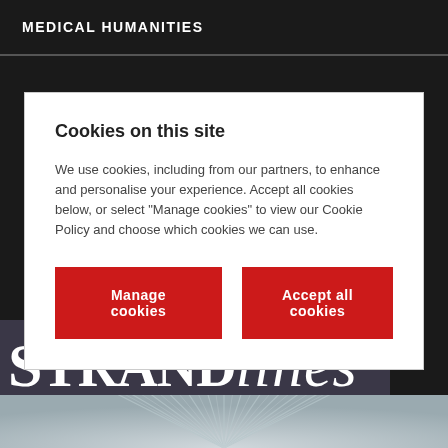MEDICAL HUMANITIES
Cookies on this site
We use cookies, including from our partners, to enhance and personalise your experience. Accept all cookies below, or select "Manage cookies" to view our Cookie Policy and choose which cookies we can use.
Manage cookies
Accept all cookies
[Figure (logo): STRANDlines logo text on dark purple-grey background]
[Figure (illustration): Sunburst / radial lines illustration in grey and white tones]